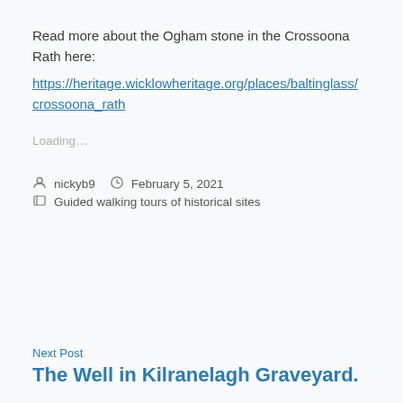Read more about the Ogham stone in the Crossoona Rath here:
https://heritage.wicklowheritage.org/places/baltinglass/crossoona_rath
Loading…
nickyb9   February 5, 2021  Guided walking tours of historical sites
Next Post
The Well in Kilranelagh Graveyard.